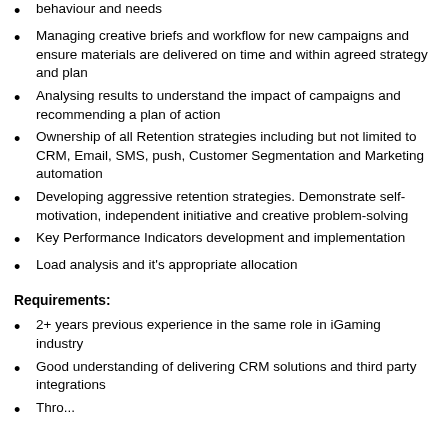behaviour and needs
Managing creative briefs and workflow for new campaigns and ensure materials are delivered on time and within agreed strategy and plan
Analysing results to understand the impact of campaigns and recommending a plan of action
Ownership of all Retention strategies including but not limited to CRM, Email, SMS, push, Customer Segmentation and Marketing automation
Developing aggressive retention strategies. Demonstrate self-motivation, independent initiative and creative problem-solving
Key Performance Indicators development and implementation
Load analysis and it's appropriate allocation
Requirements:
2+ years previous experience in the same role in iGaming industry
Good understanding of delivering CRM solutions and third party integrations
Thro... (partial)